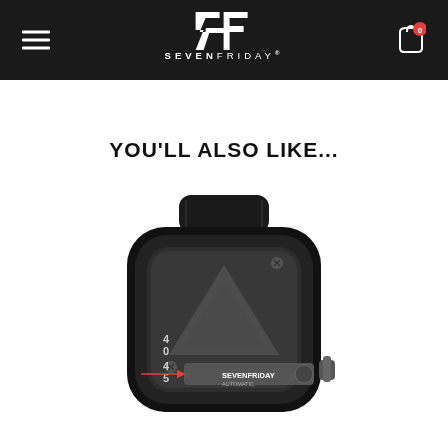SEVENFRIDAY navigation header with hamburger menu, logo, and cart icon
YOU'LL ALSO LIKE...
[Figure (photo): Close-up photo of a SevenFriday automatic watch with black case, black rubber strap, industrial-style dial with grey triangular hour hand, showing numerals 40 and 45, red arrow indicator, and SevenFriday Automatic text on the movement bridge visible through the dial.]